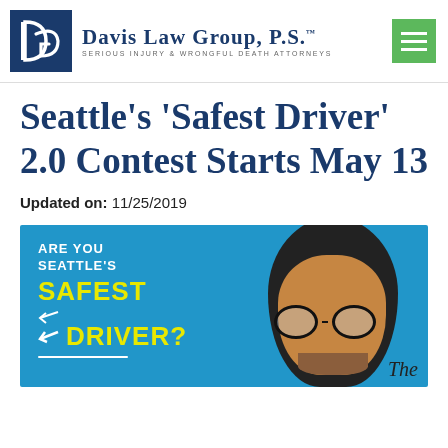[Figure (logo): Davis Law Group P.S. logo with navy blue box containing stylized DLG letters, firm name in serif font, subtitle 'Serious Injury & Wrongful Death Attorneys', and green hamburger menu button]
Seattle’s ‘Safest Driver’ 2.0 Contest Starts May 13
Updated on: 11/25/2019
[Figure (photo): Blue promotional banner reading 'Are you Seattle's Safest Driver?' in white and yellow text with arrow graphic, alongside a smiling man wearing glasses and a black cap. Partial word 'The' visible at bottom right.]